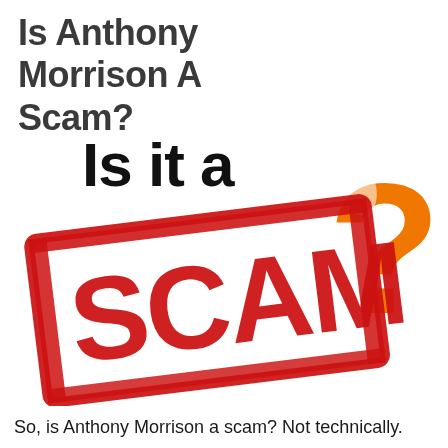Is Anthony Morrison A Scam?
[Figure (illustration): Graphic showing bold black text 'Is it a' overlaid on a red rubber stamp rectangle containing the word 'SCAM' in large distressed red letters, with a large orange question mark on the right side.]
So, is Anthony Morrison a scam? Not technically.